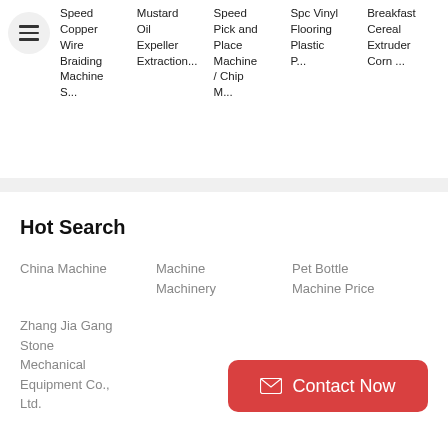Speed Copper Wire Braiding Machine S...
Mustard Oil Expeller Extraction...
Speed Pick and Place Machine / Chip M...
Spc Vinyl Flooring Plastic P...
Breakfast Cereal Extruder Corn ...
Hot Search
China Machine
Machine Machinery
Pet Bottle Machine Price
Zhang Jia Gang Stone Mechanical Equipment Co., Ltd.
Contact Now